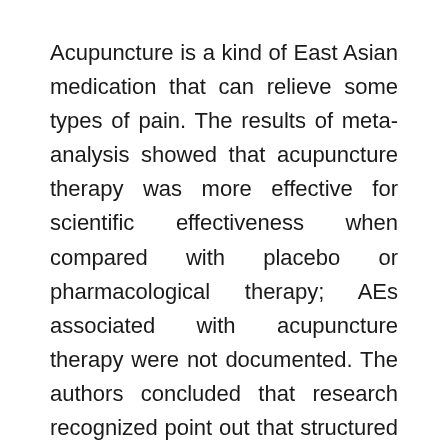Acupuncture is a kind of East Asian medication that can relieve some types of pain. The results of meta-analysis showed that acupuncture therapy was more effective for scientific effectiveness when compared with placebo or pharmacological therapy; AEs associated with acupuncture therapy were not documented. The authors concluded that research recognized point out that structured exercise and SMT seem to supply equal benefits by way of ache and functional enchancment for those with chronic LBP with scientific advantages evident within eight weeks of care.Moreover, in contrast with sham treatment, inactive therapy, or ready listing control, needle acupuncture could also